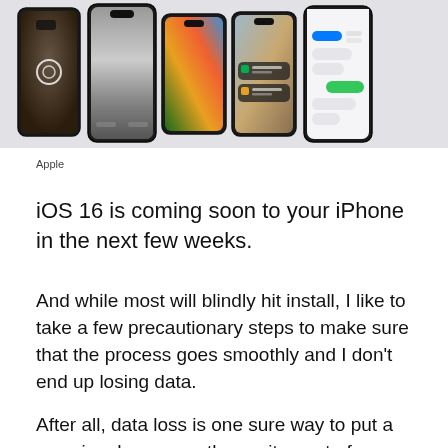[Figure (photo): Row of five iPhones displayed on a light gray background showing various iOS 16 screens including camera, portrait photo, colorful wallpaper, lock screen notifications, and messaging app.]
Apple
iOS 16 is coming soon to your iPhone in the next few weeks.
And while most will blindly hit install, I like to take a few precautionary steps to make sure that the process goes smoothly and I don't end up losing data.
After all, data loss is one sure way to put a massive damper on the excitement of a new iOS release.